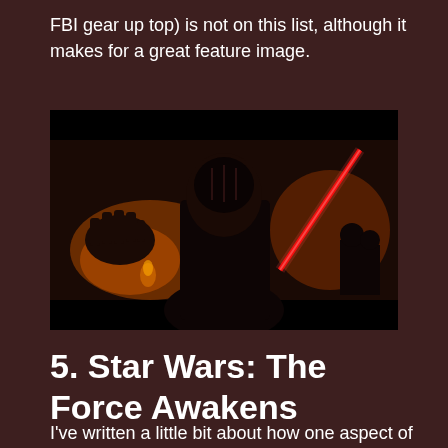FBI gear up top) is not on this list, although it makes for a great feature image.
[Figure (photo): A dark scene from Star Wars: The Force Awakens showing Kylo Ren in a black mask and helmet with hand outstretched, and a red lightsaber visible to the right, with flames in the background. The image has black letterbox bars at top and bottom.]
5. Star Wars: The Force Awakens
I've written a little bit about how one aspect of this